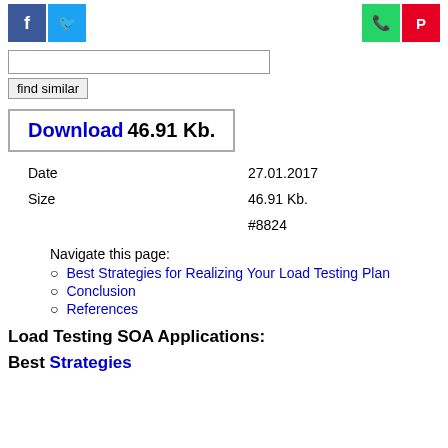[Figure (screenshot): Social media share buttons: Facebook (blue), Twitter (light blue) on left; WhatsApp (green), Pinterest (red) on right]
[Figure (screenshot): Search input box and 'find similar' button]
[Figure (screenshot): Download button with text: Download 46.91 Kb.]
| Date | 27.01.2017 |
| Size | 46.91 Kb. |
|  | #8824 |
Navigate this page:
Best Strategies for Realizing Your Load Testing Plan
Conclusion
References
Load Testing SOA Applications:
Best Strategies